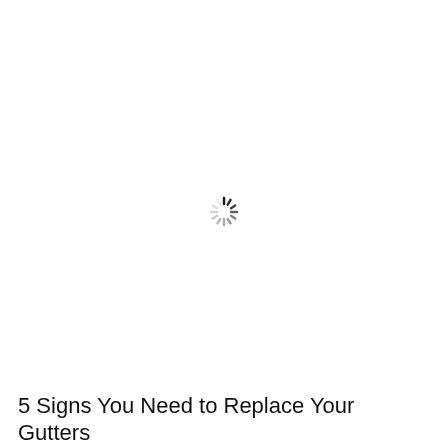[Figure (other): Loading spinner icon — a circular arrangement of short line segments in varying shades of gray and black, indicating a loading state]
5 Signs You Need to Replace Your Gutters